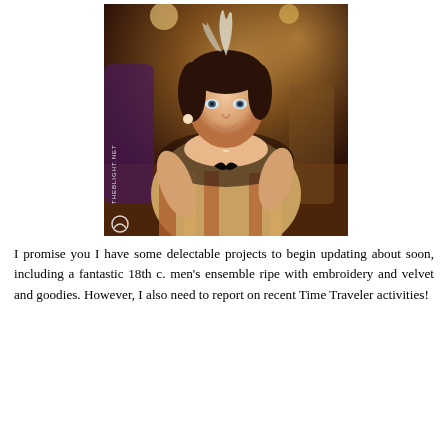[Figure (photo): A woman in Victorian/steampunk costume wearing an off-shoulder corset dress with lace trim, striped fabric, and a cameo necklace, with a feathered headpiece. She is smiling at the camera in what appears to be a ballroom setting. A watermark reads 'THEBLIGHT.NET' vertically along the left side of the image.]
I promise you I have some delectable projects to begin updating about soon, including a fantastic 18th c. men's ensemble ripe with embroidery and velvet and goodies. However, I also need to report on recent Time Traveler activities!